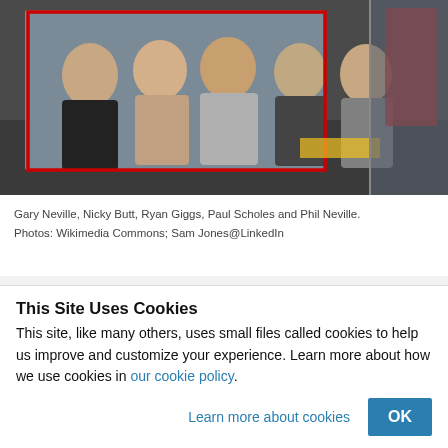[Figure (photo): Group photo of five men (Gary Neville, Nicky Butt, Ryan Giggs, Paul Scholes and Phil Neville) inside what appears to be an industrial setting. A red rectangle highlights the five people. There is a red accent element on the right side of the image.]
Gary Neville, Nicky Butt, Ryan Giggs, Paul Scholes and Phil Neville. Photos: Wikimedia Commons; Sam Jones@LinkedIn
Five former Manchester United football
This Site Uses Cookies
This site, like many others, uses small files called cookies to help us improve and customize your experience. Learn more about how we use cookies in our cookie policy.
Learn more about cookies  OK